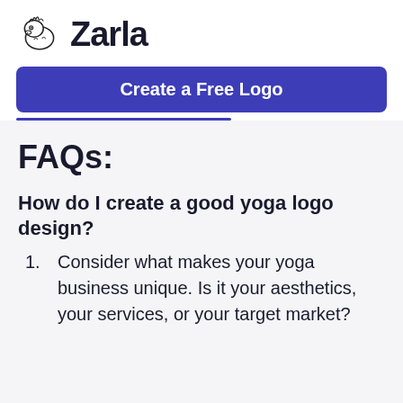[Figure (logo): Zarla logo with cartoon zebra icon on the left and bold text 'Zarla' on the right]
Create a Free Logo
FAQs:
How do I create a good yoga logo design?
Consider what makes your yoga business unique. Is it your aesthetics, your services, or your target market?